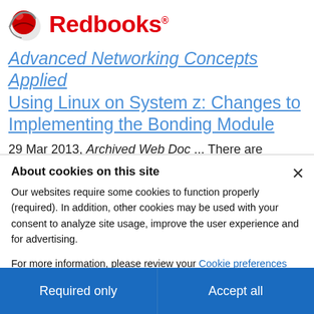[Figure (logo): IBM Redbooks logo with red globe icon and red bold Redbooks text]
Advanced Networking Concepts Applied Using Linux on System z: Changes to Implementing the Bonding Module
29 Mar 2013, Archived Web Doc ... There are changes to using channel bonding interfaces introduced with SLES 11 SP 2. Eric Marins, an IBM® IT Specialist for Linux on IBM System z, offers help in this area by providing...
About cookies on this site
Our websites require some cookies to function properly (required). In addition, other cookies may be used with your consent to analyze site usage, improve the user experience and for advertising.
For more information, please review your Cookie preferences options and IBM's privacy statement.
Required only
Accept all